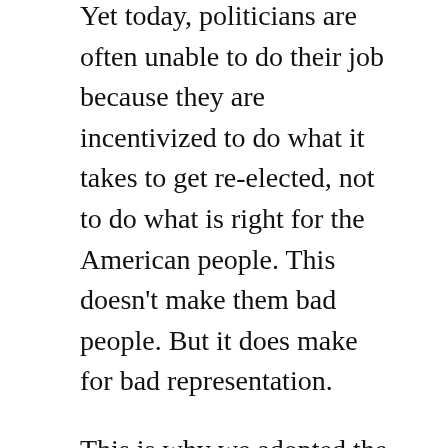Yet today, politicians are often unable to do their job because they are incentivized to do what it takes to get re-elected, not to do what is right for the American people. This doesn't make them bad people. But it does make for bad representation.
This is why we adopted the 22nd Amendment in 1947, to limit the number of terms a President can hold office to two terms. We did this because we recognized that a President should focus on representing the people instead of playing politics.
Yet today, we have a perpetual election cycle that incentivizes politicians to speak along carefully crafted campaign talking points